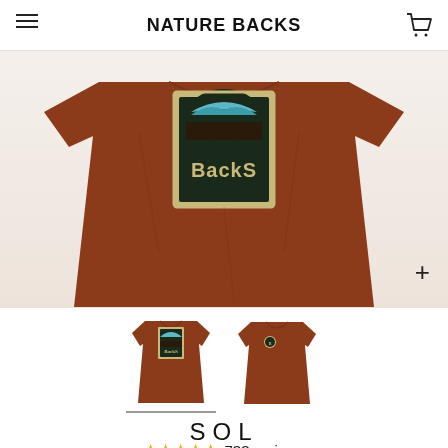NATURE BACKS
[Figure (photo): Brown/rust colored t-shirt laid flat showing back graphic with 'Backs' text in retro style lettering inside a rectangular frame with a landscape scene above]
[Figure (photo): Small thumbnail of the back of the rust-colored t-shirt showing the full shirt]
[Figure (photo): Small thumbnail of the front of the rust-colored t-shirt showing small chest logo]
SOL
733 reviews